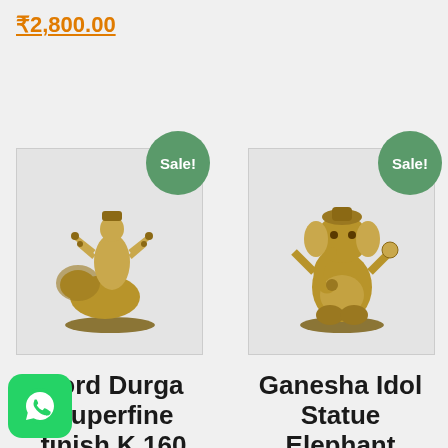₹2,800.00
[Figure (photo): Brass statue of Lord Durga on lion with Sale! badge]
Lord Durga Superfine finish K 160
lti-
[Figure (photo): Brass Ganesha idol elephant statue with Sale! badge]
Ganesha Idol Statue Elephant Statue Lord Gane